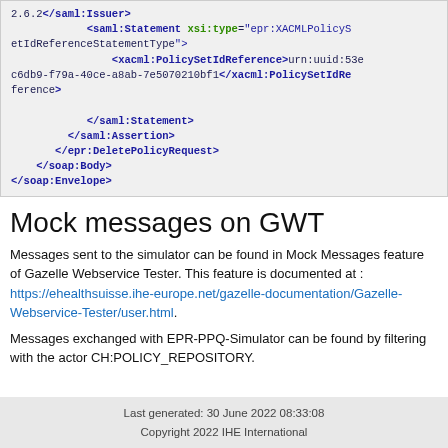2.6.2</saml:Issuer>
<saml:Statement xsi:type="epr:XACMLPolicySetIdReferenceStatementType">
<xacml:PolicySetIdReference>urn:uuid:53ec6db9-f79a-40ce-a8ab-7e5070210bf1</xacml:PolicySetIdReference>
</saml:Statement>
</saml:Assertion>
</epr:DeletePolicyRequest>
</soap:Body>
</soap:Envelope>
Mock messages on GWT
Messages sent to the simulator can be found in Mock Messages feature of Gazelle Webservice Tester. This feature is documented at : https://ehealthsuisse.ihe-europe.net/gazelle-documentation/Gazelle-Webservice-Tester/user.html.
Messages exchanged with EPR-PPQ-Simulator can be found by filtering with the actor CH:POLICY_REPOSITORY.
Last generated: 30 June 2022 08:33:08
Copyright 2022 IHE International